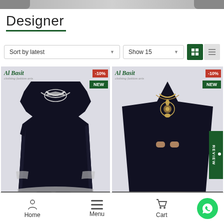[Figure (photo): Top strip showing partial image of people/models]
Designer
[Figure (screenshot): Filter bar with Sort by latest dropdown, Show 15 dropdown, grid view active icon and list view icon]
[Figure (photo): Left product card: Black embroidered velvet kurti/suit with silver embroidery on neckline and sleeves, Al Basir logo, -10% red badge, NEW green badge, Add to cart button]
[Figure (photo): Right product card: Black velvet kurti with gold embroidery, Al Basir logo, -10% red badge, NEW green badge, REVIEW button, Add to cart button]
Home   Menu   Cart